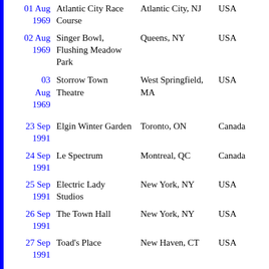| Date | Venue | City | Country |
| --- | --- | --- | --- |
| 01 Aug 1969 | Atlantic City Race Course | Atlantic City, NJ | USA |
| 02 Aug 1969 | Singer Bowl, Flushing Meadow Park | Queens, NY | USA |
| 03 Aug 1969 | Storrow Town Theatre | West Springfield, MA | USA |
| 23 Sep 1991 | Elgin Winter Garden | Toronto, ON | Canada |
| 24 Sep 1991 | Le Spectrum | Montreal, QC | Canada |
| 25 Sep 1991 | Electric Lady Studios | New York, NY | USA |
| 26 Sep 1991 | The Town Hall | New York, NY | USA |
| 27 Sep 1991 | Toad's Place | New Haven, CT | USA |
| 28 Sep 1991 | Tower Theatre | Upper Darby, PA | USA |
| 30 Sep 1991 | Outdoor Plaza Stage at Dallas Alley | Dallas, TX | USA |
| 01 Oct | Vic Theatre | Chicago, IL | USA |